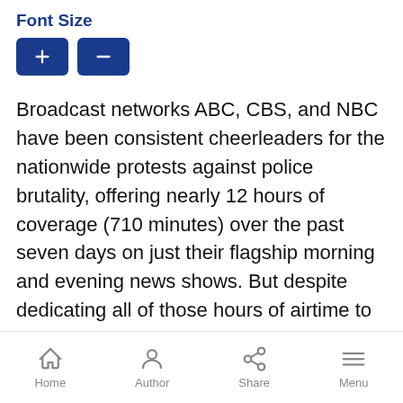Font Size
[Figure (other): Two buttons for increasing and decreasing font size, with up and down arrow icons on dark blue rounded rectangle buttons]
Broadcast networks ABC, CBS, and NBC have been consistent cheerleaders for the nationwide protests against police brutality, offering nearly 12 hours of coverage (710 minutes) over the past seven days on just their flagship morning and evening news shows. But despite dedicating all of those hours of airtime to the protests and riots, these networks have barely breathed a word about those who have died in the resulting violence.
NBC...
Home   Author   Share   Menu